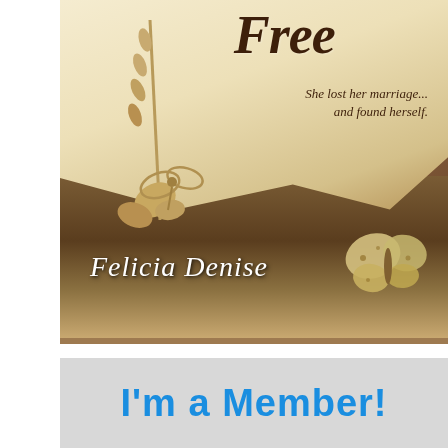[Figure (illustration): Book cover for 'Free' by Felicia Denise. Vintage/rustic style with parchment paper background, dried flowers with twine bow, a butterfly in the lower right, and cursive subtitle reading 'She lost her marriage... and found herself.' The lower half has a dark brown textured background with the author name 'Felicia Denise' in white script.]
[Figure (illustration): Blue bold text banner reading 'I'm a Member!' on a light grey background]